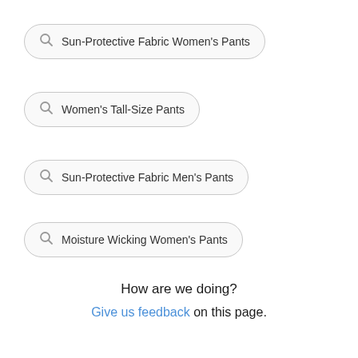Sun-Protective Fabric Women's Pants
Women's Tall-Size Pants
Sun-Protective Fabric Men's Pants
Moisture Wicking Women's Pants
How are we doing?
Give us feedback on this page.